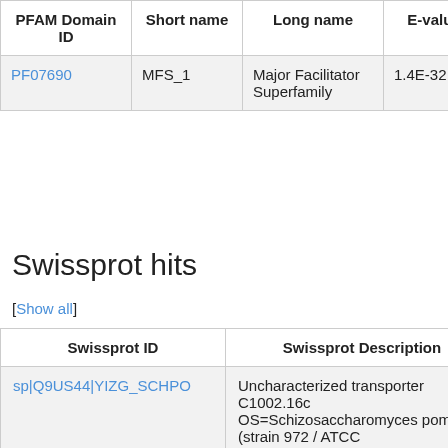| PFAM Domain ID | Short name | Long name | E-value | Start | End |
| --- | --- | --- | --- | --- | --- |
| PF07690 | MFS_1 | Major Facilitator Superfamily | 1.4E-32 | 30 | 399 |
Swissprot hits
[Show all]
| Swissprot ID | Swissprot Description |
| --- | --- |
| sp|Q9US44|YIZG_SCHPO | Uncharacterized transporter C1002.16c OS=Schizosaccharomyces pombe (strain 972 / ATCC |